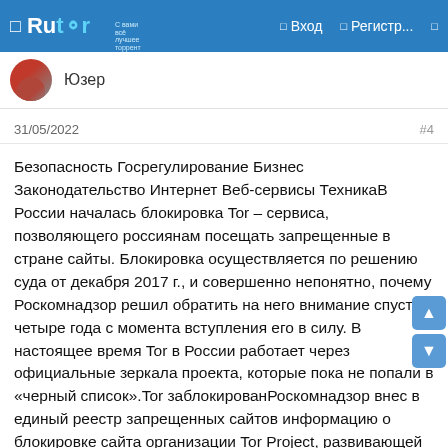Rutor — Вход — Регистр...
Юзер
31/05/2022  #4
Безопасность Госрегулирование Бизнес Законодательство Интернет Веб-сервисы ТехникаВ России началась блокировка Tor – сервиса, позволяющего россиянам посещать запрещенные в стране сайты. Блокировка осуществляется по решению суда от декабря 2017 г., и совершенно непонятно, почему Роскомнадзор решил обратить на него внимание спустя четыре года с момента вступления его в силу. В настоящее время Tor в России работает через официальные зеркала проекта, которые пока не попали в «черный список».Tor заблокированРоскомнадзор внес в единый реестр запрещенных сайтов информацию о блокировке сайта организации Tor Project, развивающей сеть Tor. В реестр внесены все адреса IPv4 и IPv6 основного сайта проекта (www.torproject.org), однако ограничения пока не касаются